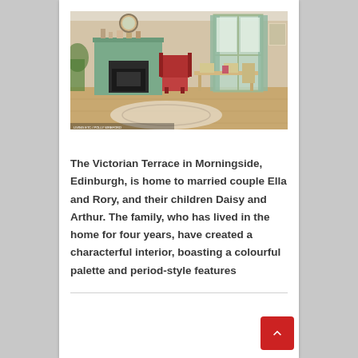[Figure (photo): Interior room of a Victorian Terrace in Morningside, Edinburgh, showing a green fireplace with a round mirror above, a red wingback chair, wooden dining table and chairs near a large window with teal curtains, light wood flooring and a patterned rug]
The Victorian Terrace in Morningside, Edinburgh, is home to married couple Ella and Rory, and their children Daisy and Arthur. The family, who has lived in the home for four years, have created a characterful interior, boasting a colourful palette and period-style features